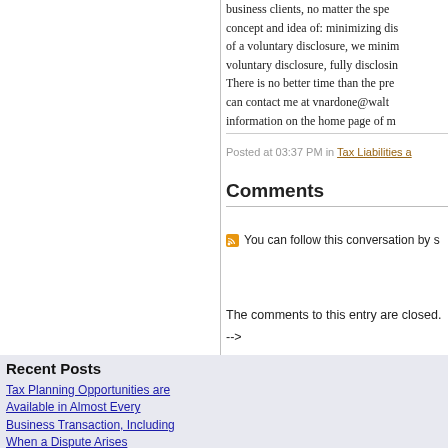business clients, no matter the spe concept and idea of: minimizing di of a voluntary disclosure, we mini voluntary disclosure, fully disclosin There is no better time than the pr can contact me at vnardone@walt information on the home page of m
Posted at 03:37 PM in Tax Liabilities a
Comments
You can follow this conversation by s
The comments to this entry are closed.
-->
Recent Posts
Tax Planning Opportunities are Available in Almost Every Business Transaction, Including When a Dispute Arises
US Government, including Department of Justice and the IRS, Take Further Steps to Shut-Down Syndicated Conservation Easements.